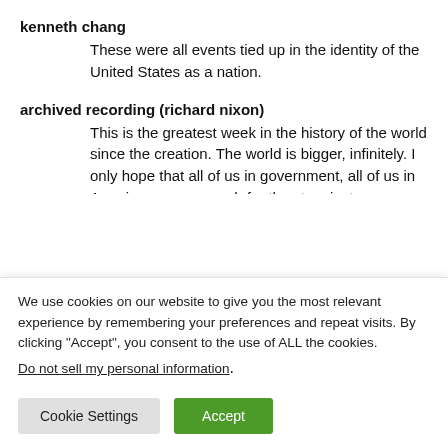kenneth chang
These were all events tied up in the identity of the United States as a nation.
archived recording (richard nixon)
This is the greatest week in the history of the world since the creation. The world is bigger, infinitely. I only hope that all of us in government, all of us in America, we can reach for the stars just as you have reached so far for the stars.
We use cookies on our website to give you the most relevant experience by remembering your preferences and repeat visits. By clicking “Accept”, you consent to the use of ALL the cookies.
Do not sell my personal information.